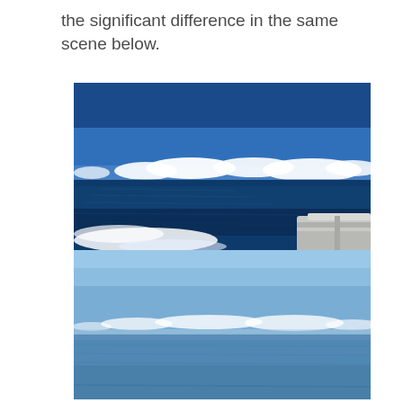the significant difference in the same scene below.
[Figure (photo): Top photo: Ocean scene taken from a moving boat. Deep blue ocean with white foam wake in the foreground, a railing of the boat visible at right. Horizon line with scattered white cumulus clouds against a deep blue sky.]
[Figure (photo): Bottom photo: Ocean scene from a lower angle or calmer conditions. Light blue sky with thin scattered clouds near the horizon, calmer blue-gray ocean water below.]